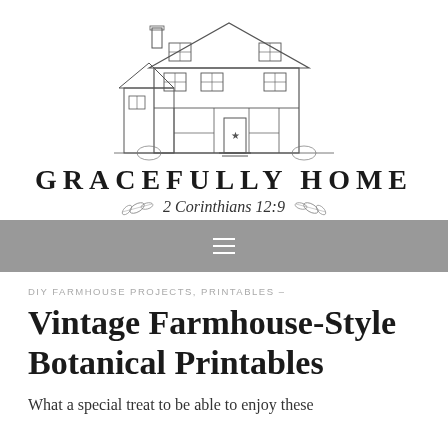[Figure (illustration): Pencil sketch illustration of a farmhouse with front porch, multiple windows, chimney, and a star decoration on the front door area]
GRACEFULLY HOME
2 Corinthians 12:9
[Figure (other): Hamburger menu navigation icon (three horizontal lines) on a gray background bar]
DIY FARMHOUSE PROJECTS, PRINTABLES –
Vintage Farmhouse-Style Botanical Printables
What a special treat to be able to enjoy these